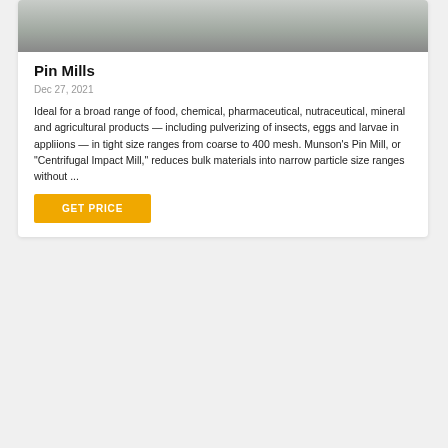[Figure (photo): Industrial pin mill machine on a factory floor with green walls and yellow floor markings.]
Pin Mills
Dec 27, 2021
Ideal for a broad range of food, chemical, pharmaceutical, nutraceutical, mineral and agricultural products — including pulverizing of insects, eggs and larvae in appliions — in tight size ranges from coarse to 400 mesh. Munson's Pin Mill, or "Centrifugal Impact Mill," reduces bulk materials into narrow particle size ranges without ...
GET PRICE